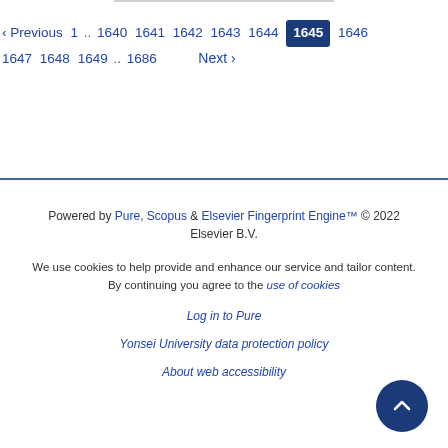[Figure (other): Pagination navigation bar showing previous/next links and page numbers 1, 1640–1649, 1686, with 1645 highlighted as current page]
Powered by Pure, Scopus & Elsevier Fingerprint Engine™ © 2022 Elsevier B.V.
We use cookies to help provide and enhance our service and tailor content. By continuing you agree to the use of cookies
Log in to Pure
Yonsei University data protection policy
About web accessibility